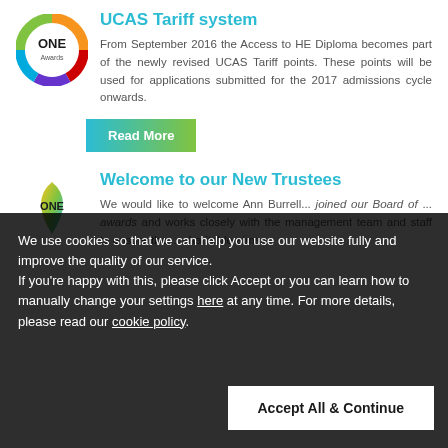[Figure (logo): ONE Awards circular logo with colorful ring (rainbow colors) and 'ONE Awards' text in center]
UCAS Tariff system
From September 2016 the Access to HE Diploma becomes part of the newly revised UCAS Tariff points. These points will be used for applications submitted for the 2017 admissions cycle onwards.
Read More
[Figure (logo): ONE Awards leaf/teardrop logo in green and yellow gradient]
Welcome to our New Trustees
We would like to welcome Ann Burrell... joined our Board of ... charitable aims ...
We use cookies so that we can help you use our website fully and improve the quality of our service. If you're happy with this, please click Accept or you can learn how to manually change your settings here at any time. For more details, please read our cookie policy.
Accept All & Continue